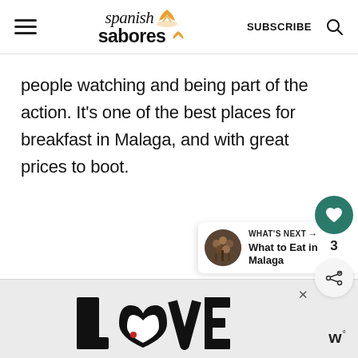Spanish Sabores | SUBSCRIBE
people watching and being part of the action. It's one of the best places for breakfast in Malaga, and with great prices to boot.
[Figure (screenshot): Heart/like button (teal circle with heart icon), count of 3, and share button (circle with share icon)]
[Figure (other): What's Next panel: thumbnail image of food skewers, label 'WHAT'S NEXT →', text 'What to Eat in Malaga']
[Figure (other): Advertisement banner with decorative LOVE lettering art and a close X button and w° logo]